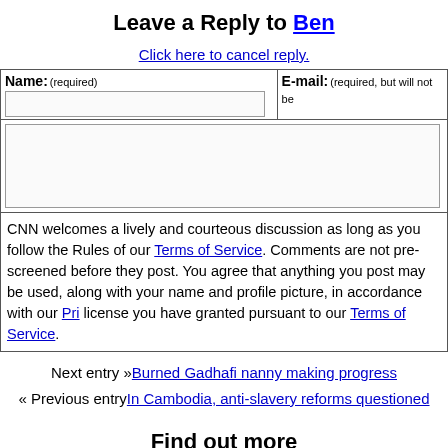Leave a Reply to Ben
Click here to cancel reply.
Name: (required)   E-mail: (required, but will not be published)
CNN welcomes a lively and courteous discussion as long as you follow the Rules of our Terms of Service. Comments are not pre-screened before they post. You agree that anything you post may be used, along with your name and profile picture, in accordance with our Privacy Policy and the license you have granted pursuant to our Terms of Service.
Next entry »Burned Gadhafi nanny making progress
« Previous entryIn Cambodia, anti-slavery reforms questioned
Find out more